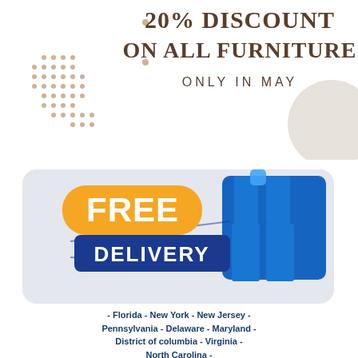[Figure (infographic): Top banner showing '20% DISCOUNT ON ALL FURNITURE ONLY IN MAY' with decorative dot pattern on left and beige circle accent on right]
[Figure (infographic): Free Delivery promotional card with orange and blue logo showing 'FREE DELIVERY' text with box icon, on light grey rounded rectangle background]
- Florida - New York - New Jersey - Pennsylvania - Delaware - Maryland - District of columbia - Virginia - North Carolina - South Carolina - Georgia - South Carolina - Connecticut - Massachusest - Rhode island - Illinois - Indiana - Michigan - Ohio - Wisconsin-